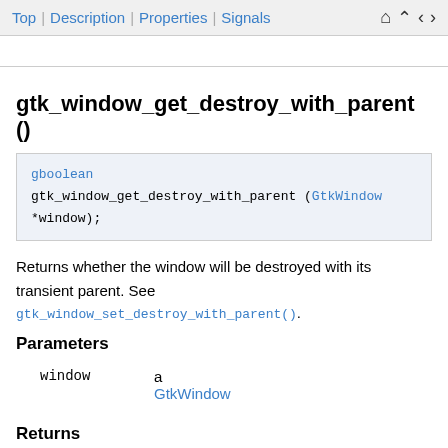Top | Description | Properties | Signals
gtk_window_get_destroy_with_parent ()
gboolean gtk_window_get_destroy_with_parent (GtkWindow *window);
Returns whether the window will be destroyed with its transient parent. See gtk_window_set_destroy_with_parent().
Parameters
|  |  |
| --- | --- |
| window | a GtkWindow |
Returns